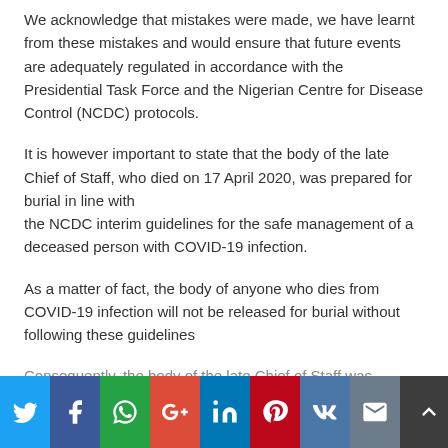We acknowledge that mistakes were made, we have learnt from these mistakes and would ensure that future events are adequately regulated in accordance with the Presidential Task Force and the Nigerian Centre for Disease Control (NCDC) protocols.
It is however important to state that the body of the late Chief of Staff, who died on 17 April 2020, was prepared for burial in line with the NCDC interim guidelines for the safe management of a deceased person with COVID-19 infection.
As a matter of fact, the body of anyone who dies from COVID-19 infection will not be released for burial without following these guidelines
Consequently, the body of the late Chief of Staff was thoroughly
Social share buttons: Twitter, Facebook, WhatsApp, Google+, LinkedIn, Pinterest, VK, Email, Scroll to top